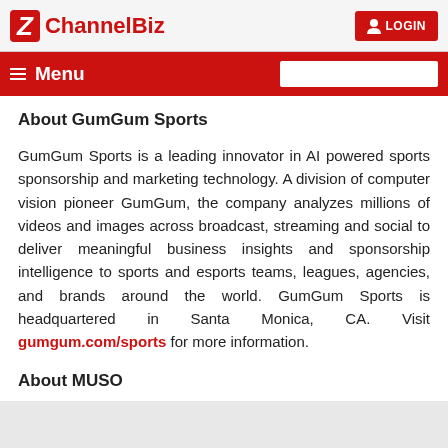ChannelBiz | LOGIN
Menu
About GumGum Sports
GumGum Sports is a leading innovator in AI powered sports sponsorship and marketing technology. A division of computer vision pioneer GumGum, the company analyzes millions of videos and images across broadcast, streaming and social to deliver meaningful business insights and sponsorship intelligence to sports and esports teams, leagues, agencies, and brands around the world. GumGum Sports is headquartered in Santa Monica, CA. Visit gumgum.com/sports for more information.
About MUSO